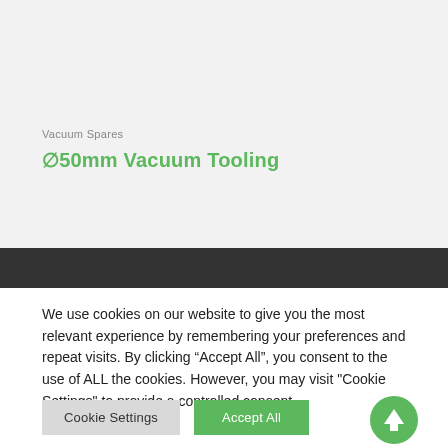Vacuum Spares
⌀50mm Vacuum Tooling
We use cookies on our website to give you the most relevant experience by remembering your preferences and repeat visits. By clicking "Accept All", you consent to the use of ALL the cookies. However, you may visit "Cookie Settings" to provide a controlled consent.
Cookie Settings
Accept All